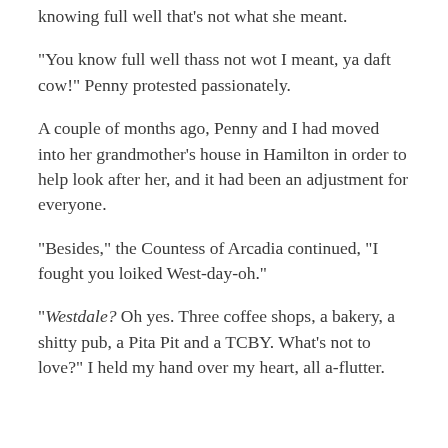knowing full well that's not what she meant.
“You know full well thass not wot I meant, ya daft cow!” Penny protested passionately.
A couple of months ago, Penny and I had moved into her grandmother’s house in Hamilton in order to help look after her, and it had been an adjustment for everyone.
“Besides,” the Countess of Arcadia continued, “I fought you loiked West-day-oh.”
“Westdale? Oh yes. Three coffee shops, a bakery, a shitty pub, a Pita Pit and a TCBY. What’s not to love?” I held my hand over my heart, all a-flutter.